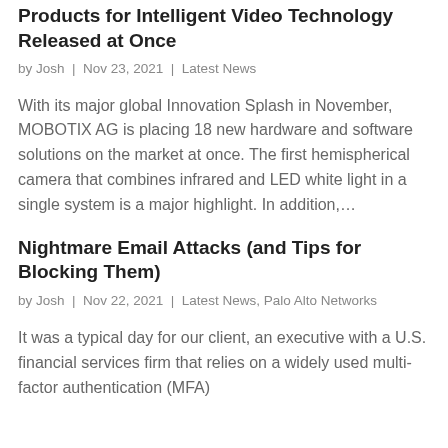Products for Intelligent Video Technology Released at Once
by Josh | Nov 23, 2021 | Latest News
With its major global Innovation Splash in November, MOBOTIX AG is placing 18 new hardware and software solutions on the market at once. The first hemispherical camera that combines infrared and LED white light in a single system is a major highlight. In addition,…
Nightmare Email Attacks (and Tips for Blocking Them)
by Josh | Nov 22, 2021 | Latest News, Palo Alto Networks
It was a typical day for our client, an executive with a U.S. financial services firm that relies on a widely used multi-factor authentication (MFA)